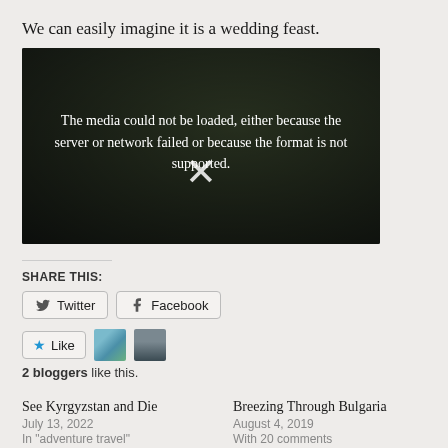We can easily imagine it is a wedding feast.
[Figure (screenshot): Video player with dark background showing error message: 'The media could not be loaded, either because the server or network failed or because the format is not supported.' with an X icon.]
SHARE THIS:
Twitter  Facebook
Like  2 bloggers like this.
See Kyrgyzstan and Die
July 13, 2022
In "adventure travel"
Breezing Through Bulgaria
August 4, 2019
With 20 comments